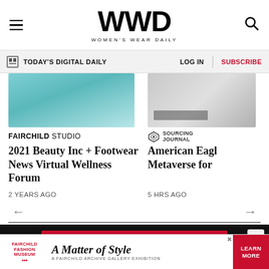WWD WOMEN'S WEAR DAILY
TODAY'S DIGITAL DAILY | LOG IN | SUBSCRIBE
[Figure (photo): Teal/blue abstract texture image for Fairchild Studio article]
FAIRCHILD STUDIO
2021 Beauty Inc + Footwear News Virtual Wellness Forum
2 YEARS AGO
[Figure (photo): Grey abstract/dark object image for Sourcing Journal article]
SOURCING JOURNAL
American Eagle Metaverse for
5 HRS AGO
← →
SUBSCRIBE TODAY
[Figure (logo): Fairchild Fashion Museum logo with text: A Matter of Style - A Fairchild Archive Gallery Exhibition. LEARN MORE button.]